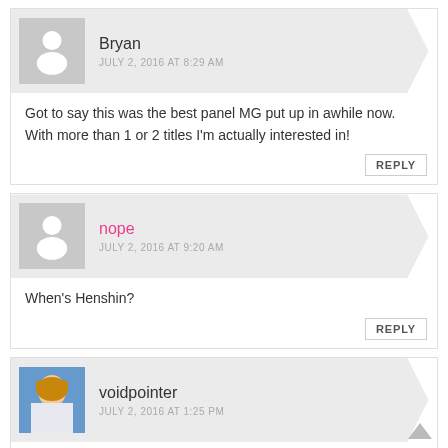Bryan
JULY 2, 2016 AT 8:29 AM
Got to say this was the best panel MG put up in awhile now. With more than 1 or 2 titles I'm actually interested in!
REPLY
nope
JULY 2, 2016 AT 9:20 AM
When's Henshin?
REPLY
voidpointer
JULY 2, 2016 AT 1:25 PM
Where are the release dates?
REPLY